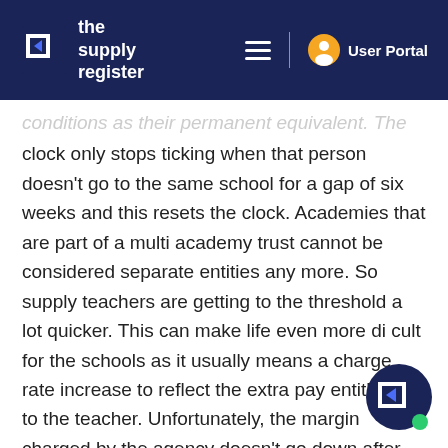the supply register — User Portal
conditions as their permanent equivalent. The clock only stops ticking when that person doesn't go to the same school for a gap of six weeks and this resets the clock. Academies that are part of a multi academy trust cannot be considered separate entities any more. So supply teachers are getting to the threshold a lot quicker. This can make life even more difficult for the schools as it usually means a charge rate increase to reflect the extra pay entitlement to the teacher. Unfortunately, the margin charged by the agency doesn't go down after 12 weeks!
EM Is there a better way without having to go